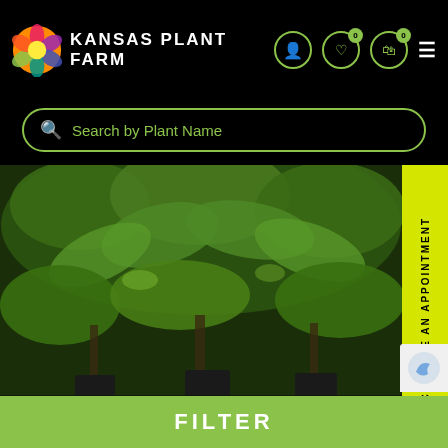[Figure (logo): Kansas Plant Farm logo with colorful floral icon and white uppercase text]
Search by Plant Name
[Figure (photo): Photo of Amorpha fruticosa (False Indigo Shrub) plants with lush green foliage in a nursery setting]
SCHEDULE AN APPOINTMENT
Amorpha fruticosa
False Indigo Shrub / Amorpha
$18.00  $23.40
Shrub
FILTER